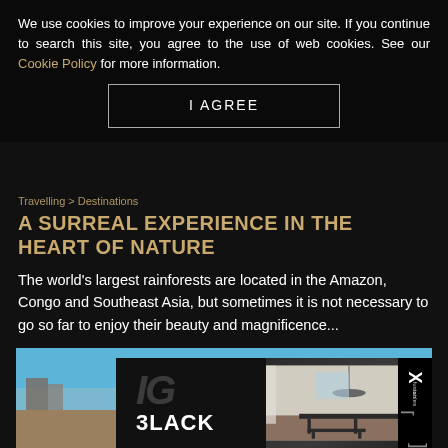We use cookies to improve your experience on our site. If you continue to search this site, you agree to the use of web cookies. See our Cookie Policy for more information.
I AGREE
Travelling > Destinations
A SURREAL EXPERIENCE IN THE HEART OF NATURE
The world's largest rainforests are located in the Amazon, Congo and Southeast Asia, but sometimes it is not necessary to go so far to enjoy their beauty and magnificence...
[Figure (photo): Coastal scene with blue water and buildings, with an advertisement overlay showing 'BLACK' text and a fusiontables interior design ad]